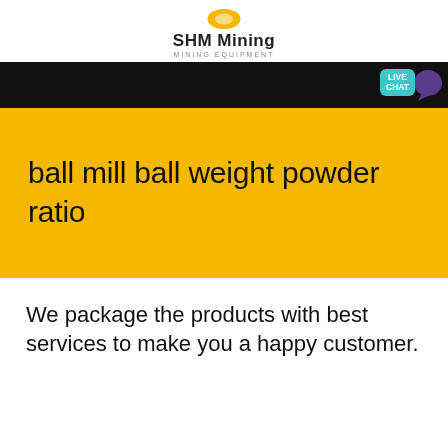SHM Mining
MINING EQUIPMENT
[Figure (screenshot): Black navigation bar with LIVE CHAT bubble in teal on the right side, purple speech bubble icon]
ball mill ball weight powder ratio
We package the products with best services to make you a happy customer.